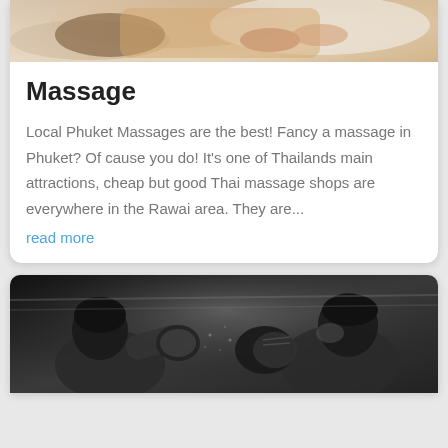[Figure (photo): Person receiving a massage, lying face down, hands of masseur visible on their back, warm tones]
Massage
Local Phuket Massages are the best! Fancy a massage in Phuket? Of cause you do! It's one of Thailands main attractions, cheap but good Thai massage shops are everywhere in the Rawai area. They are...
read more
[Figure (photo): Two boxers fighting in a boxing match, black and white photo, both wearing boxing gloves]